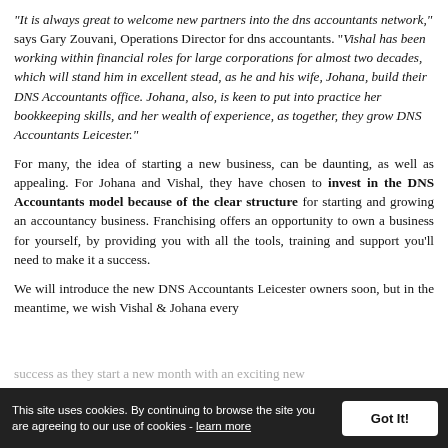“It is always great to welcome new partners into the dns accountants network,” says Gary Zouvani, Operations Director for dns accountants. “Vishal has been working within financial roles for large corporations for almost two decades, which will stand him in excellent stead, as he and his wife, Johana, build their DNS Accountants office. Johana, also, is keen to put into practice her bookkeeping skills, and her wealth of experience, as together, they grow DNS Accountants Leicester.”
For many, the idea of starting a new business, can be daunting, as well as appealing. For Johana and Vishal, they have chosen to invest in the DNS Accountants model because of the clear structure for starting and growing an accountancy business. Franchising offers an opportunity to own a business for yourself, by providing you with all the tools, training and support you'll need to make it a success.
We will introduce the new DNS Accountants Leicester owners soon, but in the meantime, we wish Vishal & Johana every success as they start a new month with an exciting new
This site uses cookies. By continuing to browse the site you are agreeing to our use of cookies - learn more  Got It!